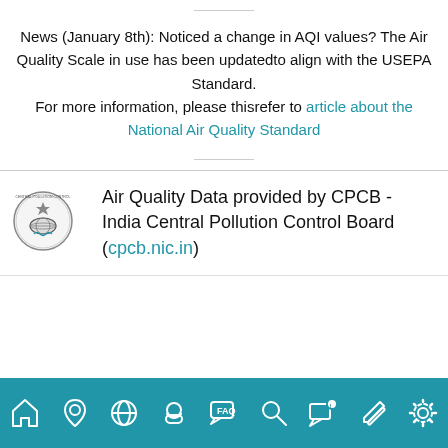News (January 8th): Noticed a change in AQI values? The Air Quality Scale in use has been updatedto align with the USEPA Standard. For more information, please thisrefer to article about the National Air Quality Standard
Air Quality Data provided by CPCB - India Central Pollution Control Board (cpcb.nic.in)
[Figure (logo): CPCB India Central Pollution Control Board circular logo with emblem and globe]